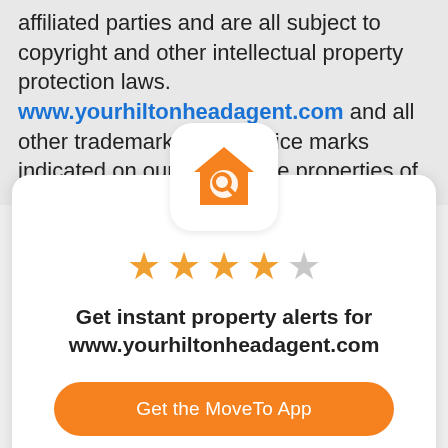affiliated parties and are all subject to copyright and other intellectual property protection laws. www.yourhiltonheadagent.com and all other trademarks and service marks indicated on our site are the properties of their respective owners.
[Figure (illustration): App icon: orange house with magnifying glass on white rounded square background]
[Figure (other): 4 out of 5 orange stars rating]
Get instant property alerts for www.yourhiltonheadagent.com
Get the MoveTo App
Not Now